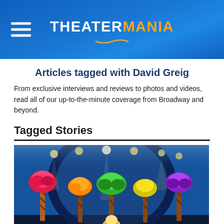TheaterMania
Articles tagged with David Greig
From exclusive interviews and reviews to photos and videos, read all of our up-to-the-minute coverage from Broadway and beyond.
Tagged Stories
[Figure (photo): Stage production photo showing colorful Dr. Seuss-style truffula trees on a theatrical stage with blue curtain backdrop and stage lighting above]